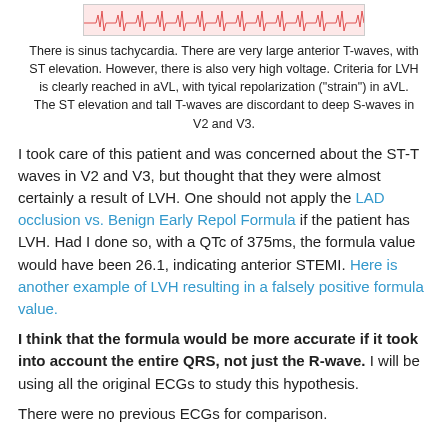[Figure (other): ECG waveform strip showing pink/red cardiac trace on light background]
There is sinus tachycardia.  There are very large anterior T-waves, with ST elevation.  However, there is also very high voltage.  Criteria for LVH is clearly reached in aVL, with tyical repolarization ("strain") in aVL.  The ST elevation and tall T-waves are discordant to deep S-waves in V2 and V3.
I took care of this patient and was concerned about the ST-T waves in V2 and V3, but thought that they were almost certainly a result of LVH.  One should not apply the LAD occlusion vs. Benign Early Repol Formula if the patient has LVH.  Had I done so, with a QTc of 375ms, the formula value would have been 26.1, indicating anterior STEMI.  Here is another example of LVH resulting in a falsely positive formula value.
I think that the formula would be more accurate if it took into account the entire QRS, not just the R-wave.  I will be using all the original ECGs to study this hypothesis.
There were no previous ECGs for comparison.